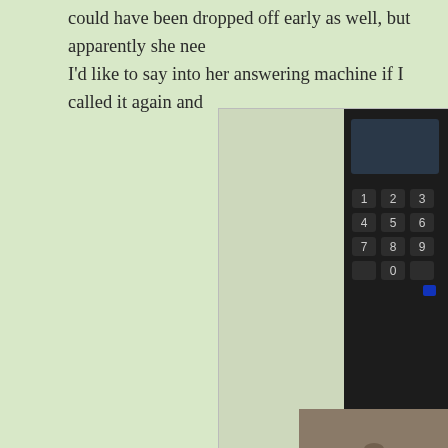could have been dropped off early as well, but apparently she nee I'd like to say into her answering machine if I called it again and
[Figure (photo): A cordless telephone keypad resting on a granite or stone surface, photographed from above at an angle.]
Imagine having a neighbor like Mary Ann and hearing he
Fortunately, I soon met a few women in the neighborhood across hassle of buckling into car seats hadn't faded. They insisted on d beginning to doubt that there were supportive people in the world option if Curly really needed a long nap or something else came u
A few times Mary Ann pulled into her driveway and watched my emerged overjoyed. Their eyes bugging out as they proudly show at a drive thru on the way home. I beamed and loudly thanked th